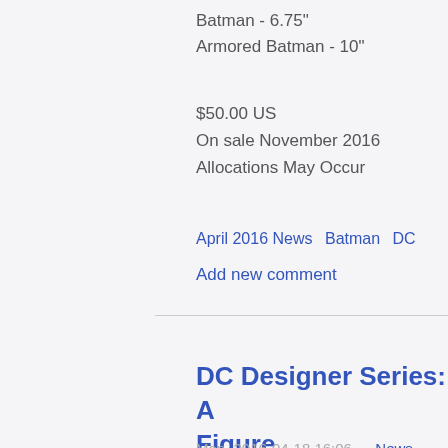Batman - 6.75"
Armored Batman - 10"
$50.00 US
On sale November 2016
Allocations May Occur
April 2016 News   Batman   DC
Add new comment
DC Designer Series: A Figure
Mon, 2016-04-18 16:06 — News